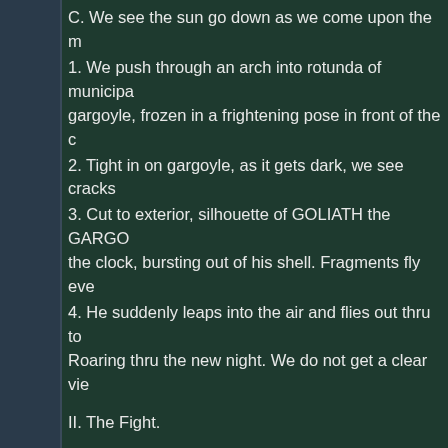C. We see the sun go down as we come upon the m
1. We push through an arch into rotunda of municipa gargoyle, frozen in a frightening pose in front of the c
2. Tight in on gargoyle, as it gets dark, we see cracks
3. Cut to exterior, silhouette of GOLIATH the GARGO the clock, bursting out of his shell. Fragments fly eve
4. He suddenly leaps into the air and flies out thru to Roaring thru the new night. We do not get a clear vie
II. The Fight.
A. We continue our "flight" over the city and push in a rooftop. Night has completely fallen.
B. ELISA (in plainclothes) is climbing up a fire escape
C. Suddenly, she is surrounded by three THUGS con carry crowbars; one, a gun).
D. Pull back, we see glowing, inhuman eyes, watchin higher rooftop.
E. The Gargoyle leaps down upon the criminals--this
1. Elisa dives out of harm's way.